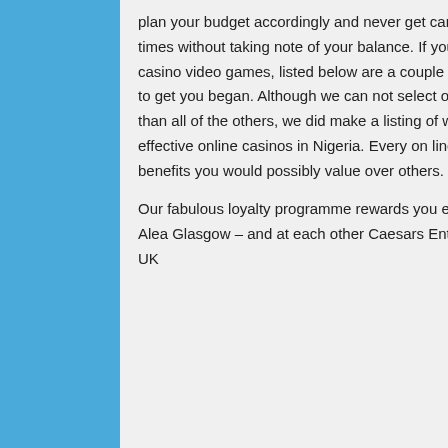plan your budget accordingly and never get carried away by spinning too many times without taking note of your balance. If you need to learn to play on line casino video games, listed below are a couple of helpful suggestions and tricks to get you began. Although we can not select one single website that is higher than all of the others, we did make a listing of what we think about the most effective online casinos in Nigeria. Every on line casino on our list has some benefits you would possibly value over others.
Our fabulous loyalty programme rewards you each time you eat, drink, or play at Alea Glasgow – and at each other Caesars Entertainment venue throughout the UK